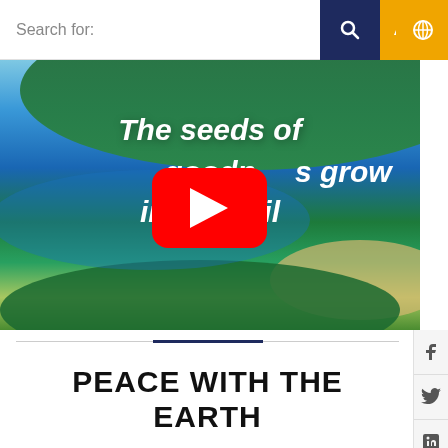Search for:
[Figure (screenshot): Video thumbnail showing aerial view of tropical island with ocean and beach. Text overlay reads: 'The seeds of goodness grow in the soil'. YouTube play button (red) in center.]
PEACE WITH THE EARTH